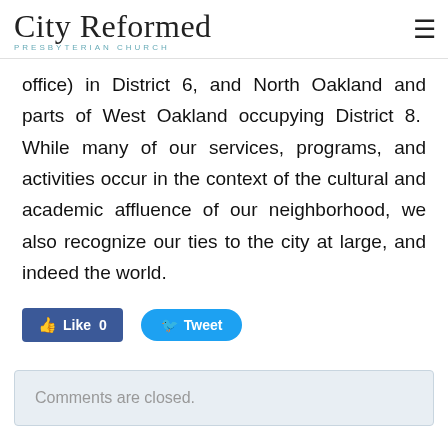City Reformed PRESBYTERIAN CHURCH
office) in District 6, and North Oakland and parts of West Oakland occupying District 8.  While many of our services, programs, and activities occur in the context of the cultural and academic affluence of our neighborhood, we also recognize our ties to the city at large, and indeed the world.
[Figure (screenshot): Social media sharing buttons: Facebook Like (count: 0) and Twitter Tweet button]
Comments are closed.